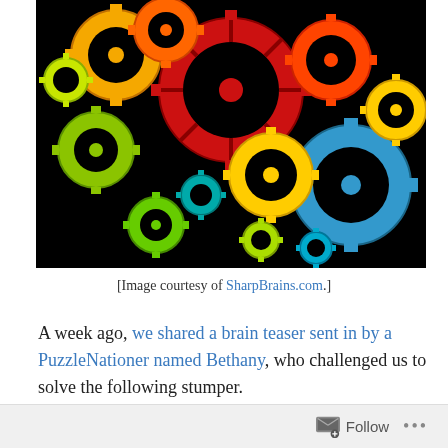[Figure (illustration): Colorful interlocking gears of various sizes in red, orange, yellow, green, blue, and teal arranged in a roughly brain-shaped cluster on a black background.]
[Image courtesy of SharpBrains.com.]
A week ago, we shared a brain teaser sent in by a PuzzleNationer named Bethany, who challenged us to solve the following stumper.
Today, we're going to share not only the solution, but how